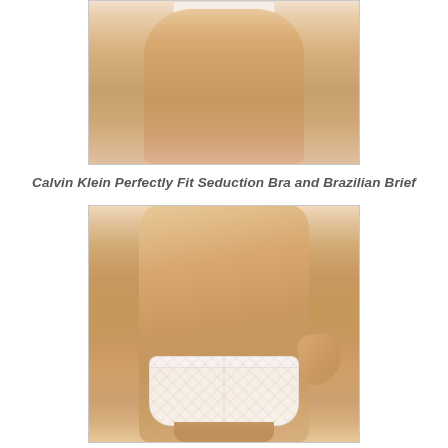[Figure (photo): Cropped torso photo of a model wearing a beige/nude bra, showing midsection from chest to hips against white background]
Calvin Klein Perfectly Fit Seduction Bra and Brazilian Brief
[Figure (photo): Photo of a model wearing white lace Brazilian brief underwear, showing torso and upper thighs with hand on hip, against white background]